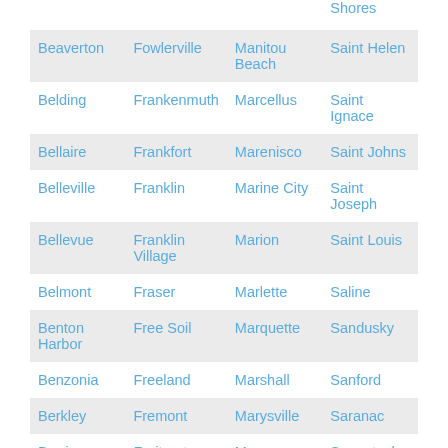|  |  |  | Shores |
| Beaverton | Fowlerville | Manitou Beach | Saint Helen |
| Belding | Frankenmuth | Marcellus | Saint Ignace |
| Bellaire | Frankfort | Marenisco | Saint Johns |
| Belleville | Franklin | Marine City | Saint Joseph |
| Bellevue | Franklin Village | Marion | Saint Louis |
| Belmont | Fraser | Marlette | Saline |
| Benton Harbor | Free Soil | Marquette | Sandusky |
| Benzonia | Freeland | Marshall | Sanford |
| Berkley | Fremont | Marysville | Saranac |
| Berrien | Fruitport | Mason | Saugatuck |